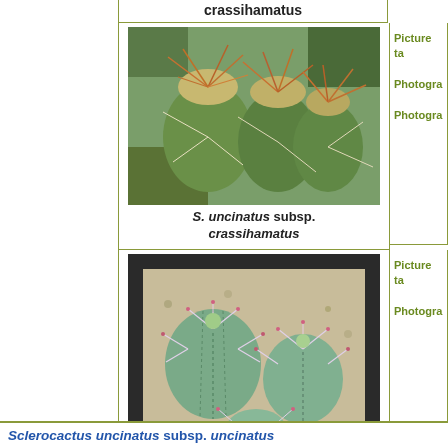|  | Photo | Details |
| --- | --- | --- |
|  | S. uncinatus subsp. crassihamatus | Picture ta...
Photogra...
Photogra... |
|  | S. uncinatus subsp. crassihamatus | Picture ta...
Photogra... |
crassihamatus
[Figure (photo): Close-up photo of Sclerocactus uncinatus subsp. crassihamatus showing spiny cactus with woolly tops]
S. uncinatus subsp. crassihamatus
[Figure (photo): Photo of three young Sclerocactus uncinatus subsp. crassihamatus cacti in a gravel container]
S. uncinatus subsp. crassihamatus
Sclerocactus uncinatus subsp. uncinatus